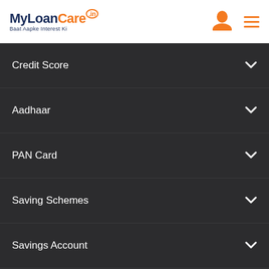[Figure (logo): MyLoanCare.in logo with tagline 'Baat Aapke Interest Ki']
Credit Score
Aadhaar
PAN Card
Saving Schemes
Savings Account
Silver Rate
Gold Rate
Tax
Others
Insurance
PMAY